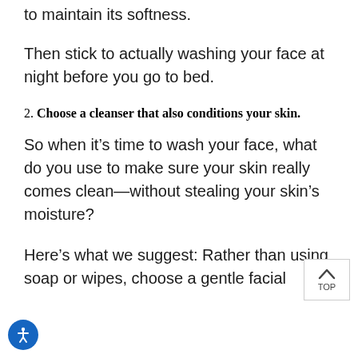to maintain its softness.
Then stick to actually washing your face at night before you go to bed.
2. Choose a cleanser that also conditions your skin.
So when it’s time to wash your face, what do you use to make sure your skin really comes clean—without stealing your skin’s moisture?
Here’s what we suggest: Rather than using soap or wipes, choose a gentle facial